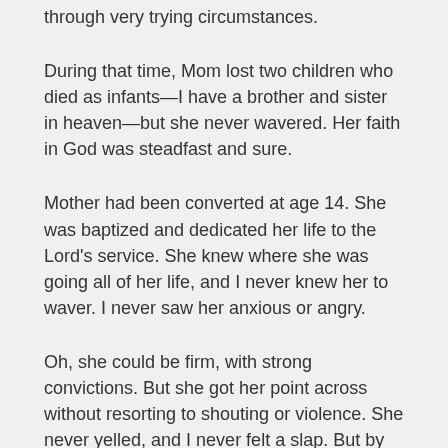through very trying circumstances.
During that time, Mom lost two children who died as infants—I have a brother and sister in heaven—but she never wavered. Her faith in God was steadfast and sure.
Mother had been converted at age 14. She was baptized and dedicated her life to the Lord's service. She knew where she was going all of her life, and I never knew her to waver. I never saw her anxious or angry.
Oh, she could be firm, with strong convictions. But she got her point across without resorting to shouting or violence. She never yelled, and I never felt a slap. But by example, she taught me how to live and always to do the right thing.
Overcoming through resourcefulness
Esther the queen was a very resourceful woman. Although she lived in the palace of a cruel and powerful oriental despot,